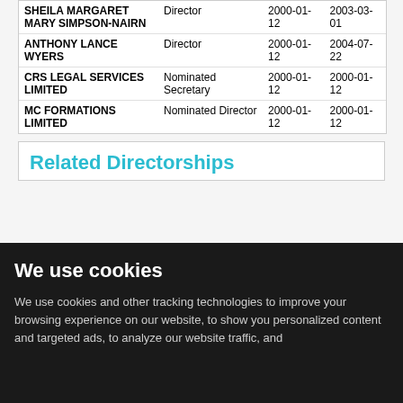| Name | Role | Start Date | End Date |
| --- | --- | --- | --- |
| SHEILA MARGARET MARY SIMPSON-NAIRN | Director | 2000-01-12 | 2000-03-01 |
| ANTHONY LANCE WYERS | Director | 2000-01-12 | 2004-07-22 |
| CRS LEGAL SERVICES LIMITED | Nominated Secretary | 2000-01-12 | 2000-01-12 |
| MC FORMATIONS LIMITED | Nominated Director | 2000-01-12 | 2000-01-12 |
Related Directorships
We use cookies
We use cookies and other tracking technologies to improve your browsing experience on our website, to show you personalized content and targeted ads, to analyze our website traffic, and